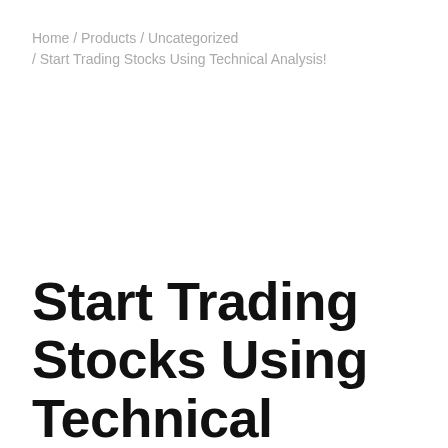Home / Products / Uncategorized / Start Trading Stocks Using Technical Analysis!
Start Trading Stocks Using Technical Analysis!